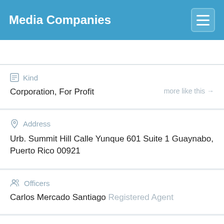Media Companies
Kind
Corporation, For Profit
Address
Urb. Summit Hill Calle Yunque 601 Suite 1 Guaynabo, Puerto Rico 00921
Officers
Carlos Mercado Santiago Registered Agent
Update status